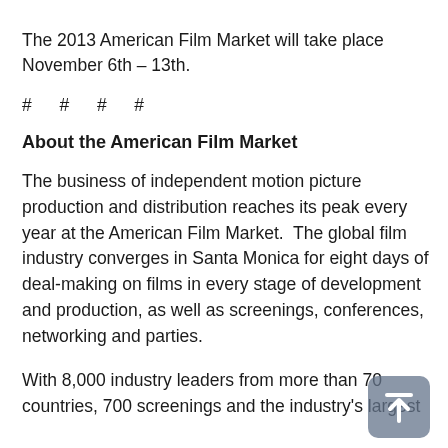The 2013 American Film Market will take place November 6th – 13th.
# # # #
About the American Film Market
The business of independent motion picture production and distribution reaches its peak every year at the American Film Market.  The global film industry converges in Santa Monica for eight days of deal-making on films in every stage of development and production, as well as screenings, conferences, networking and parties.
With 8,000 industry leaders from more than 70 countries, 700 screenings and the industry's largest